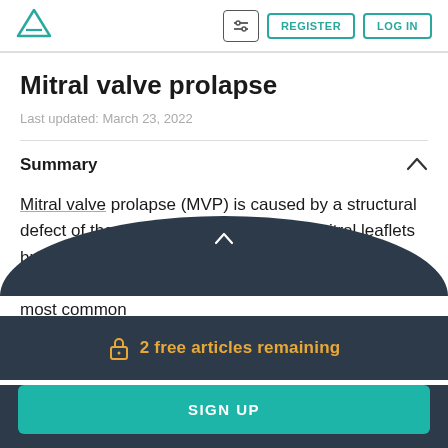Amboss — Register | Log In
Mitral valve prolapse
Last updated: March 23, 2022
Summary
Mitral valve prolapse (MVP) is caused by a structural defect of the mitral valve that results in mitral leaflets bulging into the left atrium during systole. In the US, MVP is the most common heart valve ab… and the most common
2 free articles remaining
SIGN UP